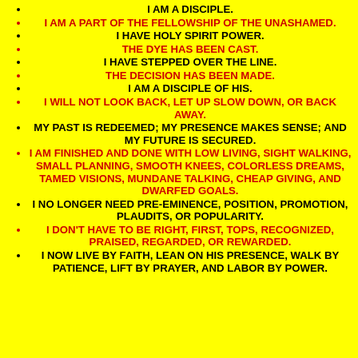I AM A DISCIPLE.
I AM A PART OF THE FELLOWSHIP OF THE UNASHAMED.
I HAVE HOLY SPIRIT POWER.
THE DYE HAS BEEN CAST.
I HAVE STEPPED OVER THE LINE.
THE DECISION HAS BEEN MADE.
I AM A DISCIPLE OF HIS.
I WILL NOT LOOK BACK, LET UP SLOW DOWN, OR BACK AWAY.
MY PAST IS REDEEMED; MY PRESENCE MAKES SENSE; AND MY FUTURE IS SECURED.
I AM FINISHED AND DONE WITH LOW LIVING, SIGHT WALKING, SMALL PLANNING, SMOOTH KNEES, COLORLESS DREAMS, TAMED VISIONS, MUNDANE TALKING, CHEAP GIVING, AND DWARFED GOALS.
I NO LONGER NEED PRE-EMINENCE, POSITION, PROMOTION, PLAUDITS, OR POPULARITY.
I DON'T HAVE TO BE RIGHT, FIRST, TOPS, RECOGNIZED, PRAISED, REGARDED, OR REWARDED.
I NOW LIVE BY FAITH, LEAN ON HIS PRESENCE, WALK BY PATIENCE, LIFT BY PRAYER, AND LABOR BY POWER.